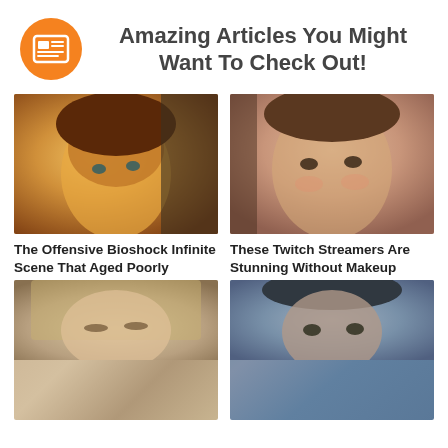Amazing Articles You Might Want To Check Out!
[Figure (illustration): Orange circle icon with a newspaper/articles symbol inside]
[Figure (photo): BioShock Infinite video game character close-up face shot with brown hair, dramatic lighting]
The Offensive Bioshock Infinite Scene That Aged Poorly
[Figure (photo): Close-up face of a female Twitch streamer with brown hair and heavy makeup]
These Twitch Streamers Are Stunning Without Makeup
[Figure (photo): Close-up of a video game female character face with blonde hair]
[Figure (photo): Close-up of a young male person face]